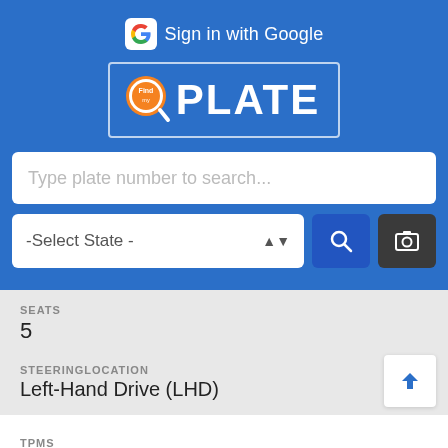[Figure (screenshot): Mobile app screenshot of FindPlate license plate search app. Blue header section with 'Sign in with Google' button, FindPlate logo, search bar, state selector dropdown, search button, and camera button. Below is a vehicle info result section showing SEATS: 5, STEERINGLOCATION: Left-Hand Drive (LHD), TPMS: Indirect, TRACTIONCONTROL: Standard (partially visible).]